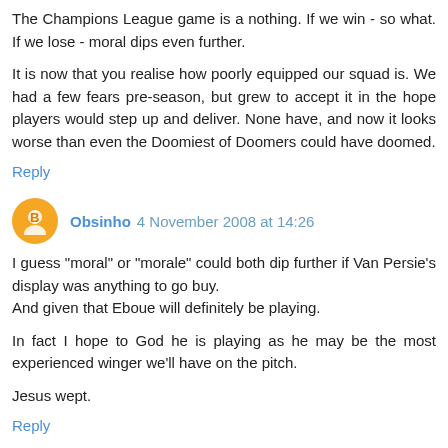The Champions League game is a nothing. If we win - so what. If we lose - moral dips even further.
It is now that you realise how poorly equipped our squad is. We had a few fears pre-season, but grew to accept it in the hope players would step up and deliver. None have, and now it looks worse than even the Doomiest of Doomers could have doomed.
Reply
Obsinho 4 November 2008 at 14:26
I guess "moral" or "morale" could both dip further if Van Persie's display was anything to go buy.
And given that Eboue will definitely be playing.
In fact I hope to God he is playing as he may be the most experienced winger we'll have on the pitch.
Jesus wept.
Reply